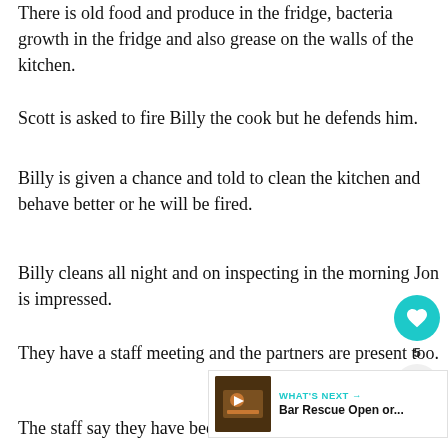There is old food and produce in the fridge, bacteria growth in the fridge and also grease on the walls of the kitchen.
Scott is asked to fire Billy the cook but he defends him.
Billy is given a chance and told to clean the kitchen and behave better or he will be fired.
Billy cleans all night and on inspecting in the morning Jon is impressed.
They have a staff meeting and the partners are present too.
The staff say they have been abandoned.
Natalie complains of trying to keep it all together